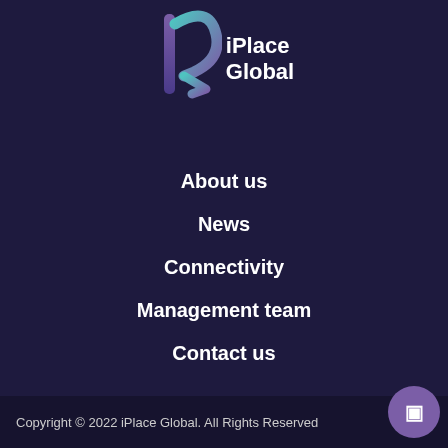[Figure (logo): iPlace Global logo with stylized P/arrow graphic in purple-to-teal gradient and white text 'iPlace Global']
About us
News
Connectivity
Management team
Contact us
Copyright © 2022 iPlace Global. All Rights Reserved